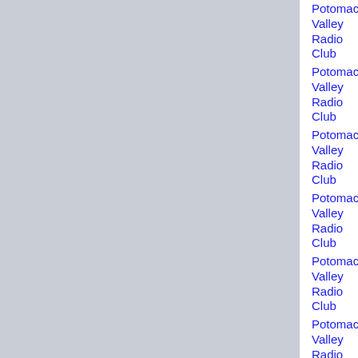| Club | Date/Time | Distance | Grid | Callsign |
| --- | --- | --- | --- | --- |
| Potomac Valley Radio Club | 2018-01-18 02:51:56 | 175 mile circle | FM08vb | KB3KGA |
| Potomac Valley Radio Club | 2018-01-05 18:20:45 | 175 mile circle | FM17bk | KB3KGA |
| Potomac Valley Radio Club | 2017-11-18 03:46:27 | 175 mile circle | FM17bk | KB3KGA |
| Potomac Valley Radio Club | 2017-11-04 16:33:09 | 175 mile circle | FM17bk | KB3KGA |
| Potomac Valley Radio Club | 2017-10-25 14:52:46 | 175 mile circle | FM17bk | KB3KGA |
| Potomac Valley Radio Club | 2017-09-09 11:16:54 | 175 mile circle | FM08vb | KB3KGA |
| Potomac Valley Radio Club | 2017-06-03 ... | 175 mile circle | FM08vb | KB3KGA |